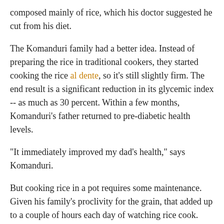composed mainly of rice, which his doctor suggested he cut from his diet.
The Komanduri family had a better idea. Instead of preparing the rice in traditional cookers, they started cooking the rice al dente, so it's still slightly firm. The end result is a significant reduction in its glycemic index -- as much as 30 percent. Within a few months, Komanduri's father returned to pre-diabetic health levels.
"It immediately improved my dad’s health," says Komanduri.
But cooking rice in a pot requires some maintenance. Given his family's proclivity for the grain, that added up to a couple of hours each day of watching rice cook.
"You can't just put it on the oven and go to the gym," he says.
So Komanduri, who worked in robotics in high school and got an engineering degree, started to tinker.